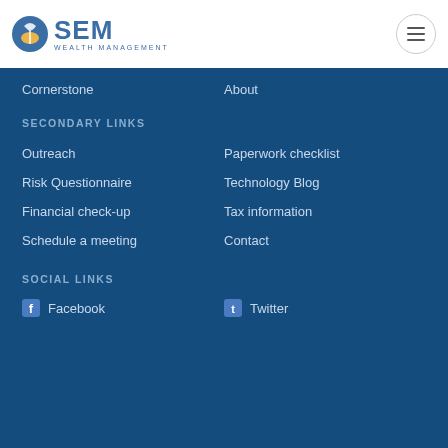SEM WEALTH MANAGEMENT
Cornerstone
About
SECONDARY LINKS
Outreach
Paperwork checklist
Risk Questionnaire
Technology Blog
Financial check-up
Tax information
Schedule a meeting
Contact
SOCIAL LINKS
Facebook
Twitter